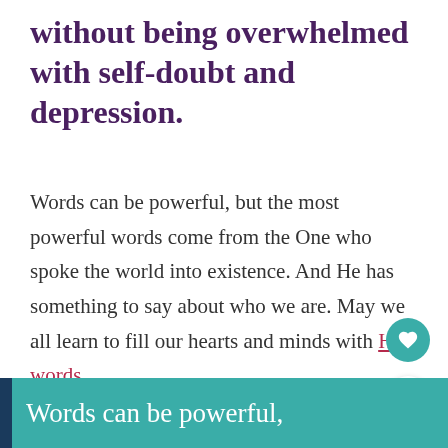without being overwhelmed with self-doubt and depression.
Words can be powerful, but the most powerful words come from the One who spoke the world into existence. And He has something to say about who we are. May we all learn to fill our hearts and minds with His words.
Words can be powerful,